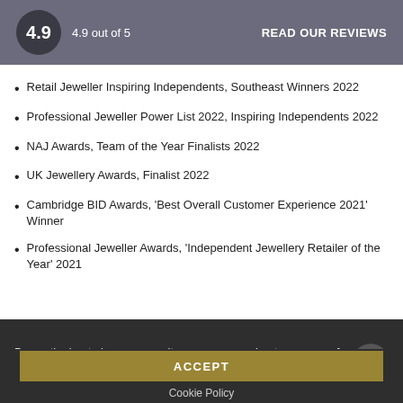4.9   4.9 out of 5   READ OUR REVIEWS
Retail Jeweller Inspiring Independents, Southeast Winners 2022
Professional Jeweller Power List 2022, Inspiring Independents 2022
NAJ Awards, Team of the Year Finalists 2022
UK Jewellery Awards, Finalist 2022
Cambridge BID Awards, 'Best Overall Customer Experience 2021' Winner
Professional Jeweller Awards, 'Independent Jewellery Retailer of the Year' 2021
By continuing to browse our site you are agreeing to our use of cookies
ACCEPT
Cookie Policy